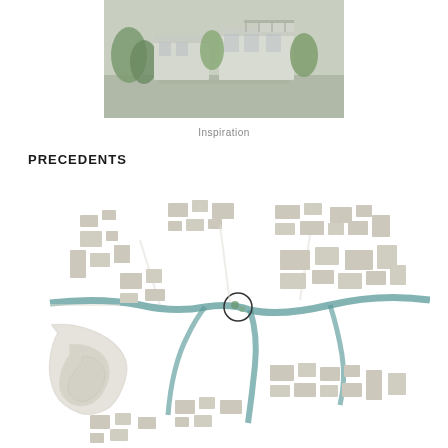[Figure (photo): Aerial perspective rendering of modern residential buildings with flat roofs, terraces, and surrounding trees — inspiration image for architectural project]
Inspiration
PRECEDENTS
[Figure (map): Urban context map showing a town's street layout, building footprints in beige/grey, and a river or water course in teal/blue winding through the centre. A small circle marks a specific site location near the confluence of waterways. The map has no labels and shows surrounding suburban and urban fabric.]